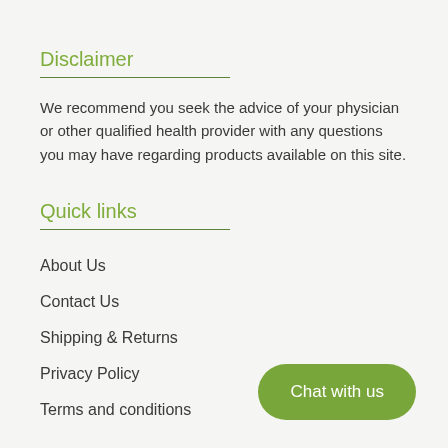Disclaimer
We recommend you seek the advice of your physician or other qualified health provider with any questions you may have regarding products available on this site.
Quick links
About Us
Contact Us
Shipping & Returns
Privacy Policy
Terms and conditions
Chat with us